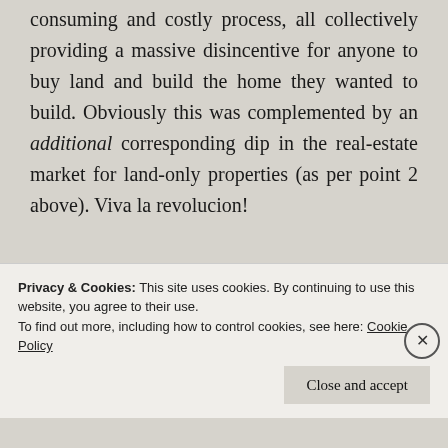consuming and costly process, all collectively providing a massive disincentive for anyone to buy land and build the home they wanted to build. Obviously this was complemented by an additional corresponding dip in the real-estate market for land-only properties (as per point 2 above). Viva la revolucion!
4. Evaporating Investor Confidence – Massive decrease in investor confidence
Privacy & Cookies: This site uses cookies. By continuing to use this website, you agree to their use.
To find out more, including how to control cookies, see here: Cookie Policy